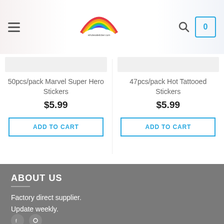[Figure (logo): Rainbow logo with arc of colors and cloud/banner at bottom with website name]
50pcs/pack Marvel Super Hero Stickers
$5.99
ADD TO CART
47pcs/pack Hot Tattooed Stickers
$5.99
ADD TO CART
ABOUT US
Factory direct supplier.
Update weekly.
Wholesale/Dropship Available